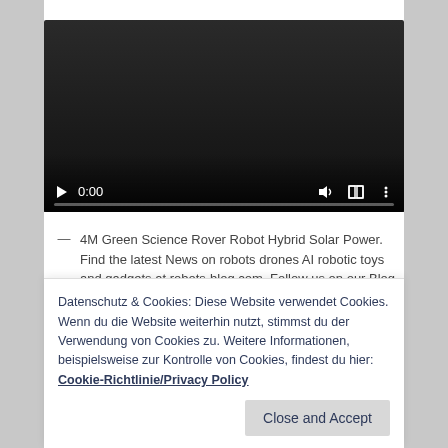[Figure (screenshot): Embedded video player showing a dark/black video frame with playback controls at the bottom: play button, time display '0:00', volume icon, fullscreen icon, more options icon, and a progress bar.]
— 4M Green Science Rover Robot Hybrid Solar Power. Find the latest News on robots drones AI robotic toys and gadgets at robots-blog.com. Follow us on our Blog Instagram Facebook Twitter or our other sites. Share your robotics ideas
Datenschutz & Cookies: Diese Website verwendet Cookies. Wenn du die Website weiterhin nutzt, stimmst du der Verwendung von Cookies zu. Weitere Informationen, beispielsweise zur Kontrolle von Cookies, findest du hier: Cookie-Richtlinie/Privacy Policy